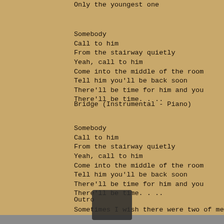Only the youngest one
Somebody
Call to him
From the stairway quietly
Yeah, call to him
Come into the middle of the room
Tell him you'll be back soon
There'll be time for him and you
There'll be time. . ..
Bridge (Instrumental - Piano)
Somebody
Call to him
From the stairway quietly
Yeah, call to him
Come into the middle of the room
Tell him you'll be back soon
There'll be time for him and you
There'll be time. . ..
Outro
Sometimes I wish there were two of me
The wiser one is...